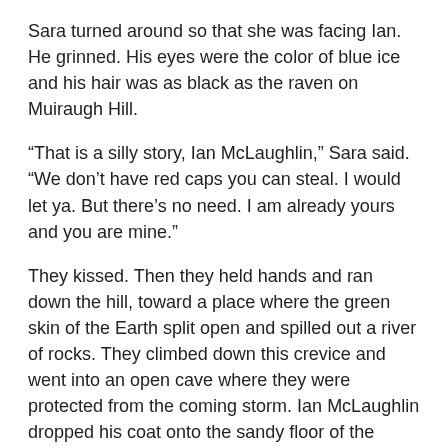Sara turned around so that she was facing Ian. He grinned. His eyes were the color of blue ice and his hair was as black as the raven on Muiraugh Hill.
“That is a silly story, Ian McLaughlin,” Sara said. “We don’t have red caps you can steal. I would let ya. But there’s no need. I am already yours and you are mine.”
They kissed. Then they held hands and ran down the hill, toward a place where the green skin of the Earth split open and spilled out a river of rocks. They climbed down this crevice and went into an open cave where they were protected from the coming storm. Ian McLaughlin dropped his coat onto the sandy floor of the cave, and then the couple lay on the cloth and made love.
“When are you going to marry me, Sara girl?” Ian whispered as he leaned over her. She reached up and wrapped a black curl around her fingers.
“In all good time,” she said. “When the auld ma of the sea